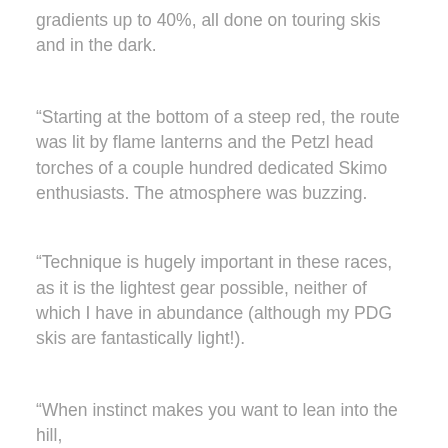gradients up to 40%, all done on touring skis and in the dark.
“Starting at the bottom of a steep red, the route was lit by flame lanterns and the Petzl head torches of a couple hundred dedicated Skimo enthusiasts. The atmosphere was buzzing.
“Technique is hugely important in these races, as it is the lightest gear possible, neither of which I have in abundance (although my PDG skis are fantastically light!).
“When instinct makes you want to lean into the hill,